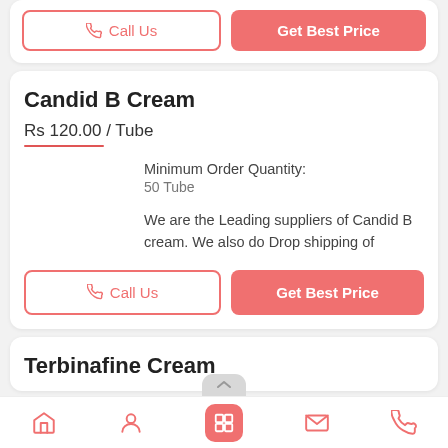[Figure (screenshot): Top partial card showing Call Us and Get Best Price buttons from previous product listing]
Candid B Cream
Rs 120.00 / Tube
Minimum Order Quantity:
50 Tube
We are the Leading suppliers of Candid B cream. We also do Drop shipping of
[Figure (screenshot): Call Us button with phone icon and Get Best Price button]
Terbinafine Cream
Home | Profile | Products | Mail | Phone navigation bar